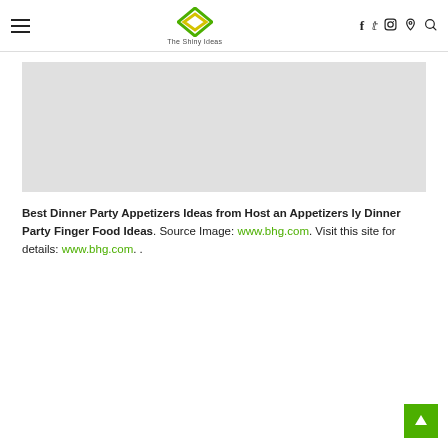The Shiny Ideas — navigation header with logo and social icons
[Figure (other): Gray advertisement placeholder banner]
Best Dinner Party Appetizers Ideas from Host an Appetizers ly Dinner Party Finger Food Ideas. Source Image: www.bhg.com. Visit this site for details: www.bhg.com. .